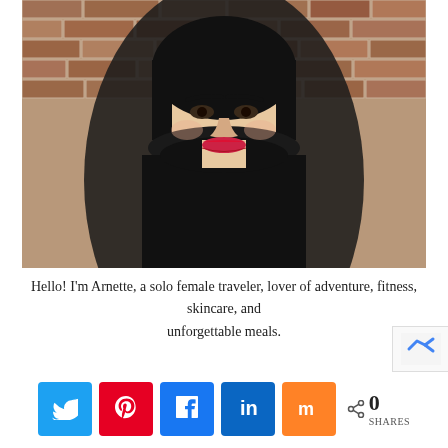[Figure (photo): Portrait photo of Arnette, a woman with black hair wearing a black turtleneck sweater, with red lipstick, smiling slightly, against a brick wall background.]
Hello! I'm Arnette, a solo female traveler, lover of adventure, fitness, skincare, and unforgettable meals.
[Figure (infographic): Social share bar with Twitter (blue), Pinterest (red), Facebook (blue), LinkedIn (dark blue), Mix (orange) buttons, followed by a share icon and count showing 0 SHARES.]